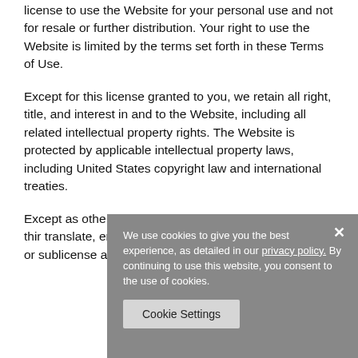license to use the Website for your personal use and not for resale or further distribution. Your right to use the Website is limited by the terms set forth in these Terms of Use.
Except for this license granted to you, we retain all right, title, and interest in and to the Website, including all related intellectual property rights. The Website is protected by applicable intellectual property laws, including United States copyright law and international treaties.
Except as othe… Terms of Use … applicable law… authorize third… translate, enh… reverse engine… Website; (b) rent, lease, or sublicense access to the
[Figure (screenshot): Cookie consent banner overlay with grey background. Text: 'We use cookies to give you the best experience, as detailed in our privacy policy. By continuing to use this website, you consent to the use of cookies.' A 'Cookie Settings' button and an X close button are visible.]